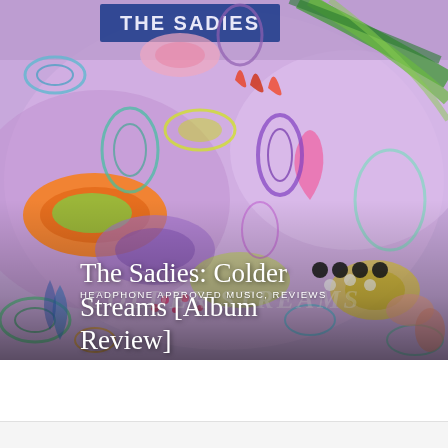[Figure (illustration): Colorful psychedelic album cover art with swirling organic shapes in purple, orange, green, yellow, pink and blue. Text 'THE SADIES' visible at top and 'COLDER STREAMS' overlaid in the lower center area.]
HEADPHONE APPROVED MUSIC, REVIEWS
The Sadies: Colder Streams [Album Review]